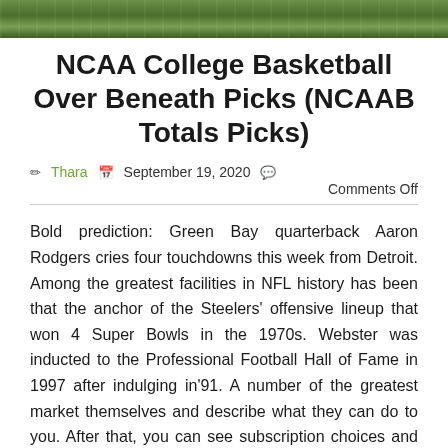[Figure (photo): Sports photo strip showing football players on a green grass field, cropped to a narrow horizontal band at the top of the page.]
NCAA College Basketball Over Beneath Picks (NCAAB Totals Picks)
✏ Thara 📅 September 19, 2020 💬 Comments Off
Bold prediction: Green Bay quarterback Aaron Rodgers cries four touchdowns this week from Detroit. Among the greatest facilities in NFL history has been that the anchor of the Steelers' offensive lineup that won 4 Super Bowls in the 1970s. Webster was inducted to the Professional Football Hall of Fame in 1997 after indulging in'91. A number of the greatest market themselves and describe what they can do to you. After that, you can see subscription choices and look at the